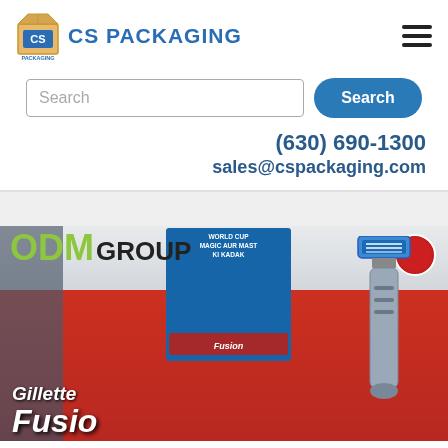[Figure (logo): CS Packaging logo: cardboard box icon with 'CS PACKAGING' text in blue]
[Figure (other): Hamburger menu icon (three horizontal lines)]
[Figure (screenshot): Search input field with placeholder text 'Search' and a blue rounded 'Search' button]
(630) 690-1300
sales@cspackaging.com
[Figure (photo): Retail store display showing ODM Group logo overlay and Gillette Fusion razor promotional display with red signage in a supermarket]